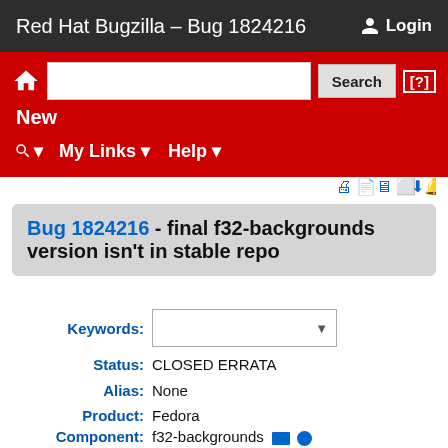Red Hat Bugzilla – Bug 1824216
Login
Search
New
My Links ▾
Help ▾
Bug 1824216 - final f32-backgrounds version isn't in stable repo
Keywords:
Status: CLOSED ERRATA
Alias: None
Product: Fedora
Component: f32-backgrounds
Version: 32